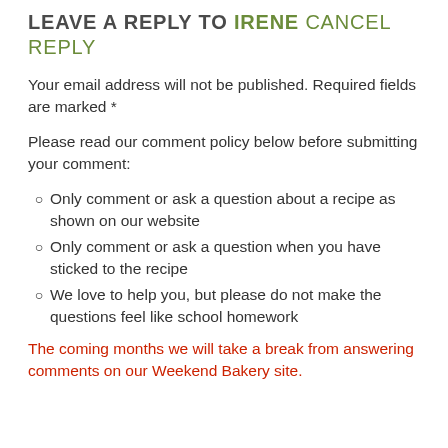LEAVE A REPLY TO IRENE CANCEL REPLY
Your email address will not be published. Required fields are marked *
Please read our comment policy below before submitting your comment:
Only comment or ask a question about a recipe as shown on our website
Only comment or ask a question when you have sticked to the recipe
We love to help you, but please do not make the questions feel like school homework
The coming months we will take a break from answering comments on our Weekend Bakery site.